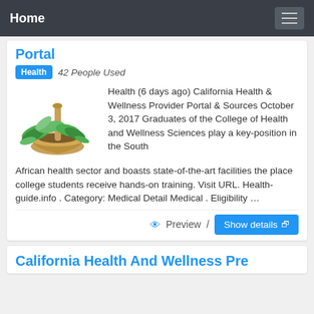Home
Portal
Health   42 People Used
[Figure (illustration): Herbal medicine image with mortar and pestle and green leaves]
Health (6 days ago) California Health & Wellness Provider Portal & Sources October 3, 2017 Graduates of the College of Health and Wellness Sciences play a key-position in the South African health sector and boasts state-of-the-art facilities the place college students receive hands-on training. Visit URL. Health-guide.info . Category: Medical Detail Medical . Eligibility …
Preview / Show details
California Health And Wellness Pre